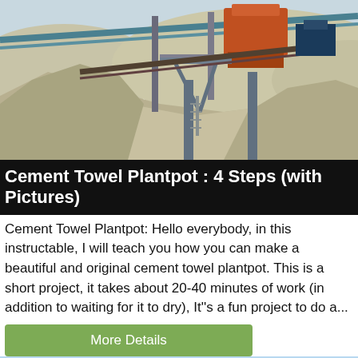[Figure (photo): Industrial mining/crushing plant with conveyor belts, heavy orange machinery, and large piles of gravel/aggregate material]
Cement Towel Plantpot : 4 Steps (with Pictures)
Cement Towel Plantpot: Hello everybody, in this instructable, I will teach you how you can make a beautiful and original cement towel plantpot. This is a short project, it takes about 20-40 minutes of work (in addition to waiting for it to dry), It''s a fun project to do a...
[Figure (photo): Partial view of outdoor scene with blue sky, bottom portion of page]